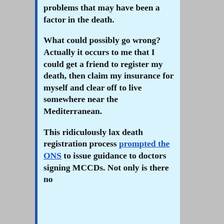problems that may have been a factor in the death.
What could possibly go wrong? Actually it occurs to me that I could get a friend to register my death, then claim my insurance for myself and clear off to live somewhere near the Mediterranean.
This ridiculously lax death registration process prompted the ONS to issue guidance to doctors signing MCCDs. Not only is there no